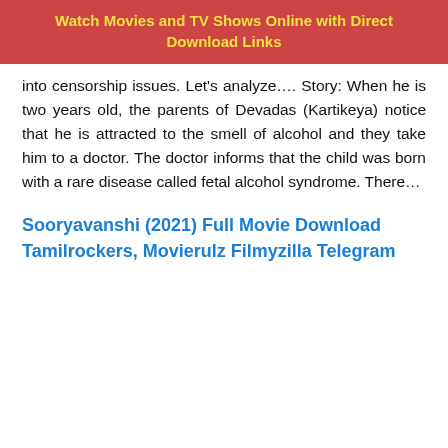Watch Movies and TV Shows Online with Direct Download Links
into censorship issues. Let's analyze…. Story: When he is two years old, the parents of Devadas (Kartikeya) notice that he is attracted to the smell of alcohol and they take him to a doctor. The doctor informs that the child was born with a rare disease called fetal alcohol syndrome. There…
Sooryavanshi (2021) Full Movie Download Tamilrockers, Movierulz Filmyzilla Telegram